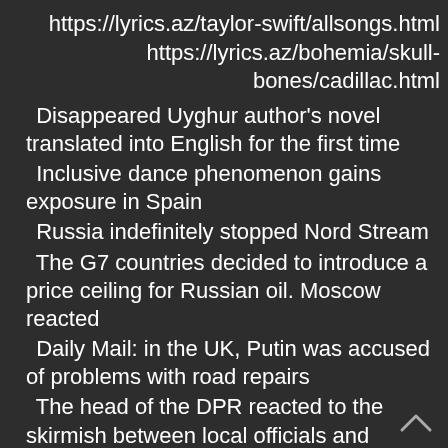https://lyrics.az/taylor-swift/allsongs.html
https://lyrics.az/bohemia/skull-bones/cadillac.html
Disappeared Uyghur author's novel translated into English for the first time
Inclusive dance phenomenon gains exposure in Spain
Russia indefinitely stopped Nord Stream
The G7 countries decided to introduce a price ceiling for Russian oil. Moscow reacted
Daily Mail: in the UK, Putin was accused of problems with road repairs
The head of the DPR reacted to the skirmish between local officials and residents
The RF Armed Forces are testing an aerial robot-sapper in Mariupol
The grave of Mikhail Gorbachev at the